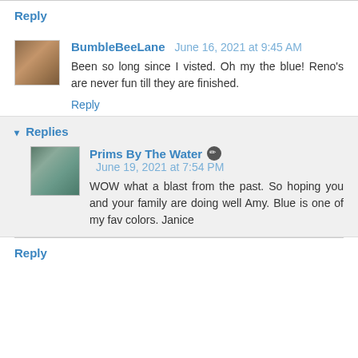Reply
BumbleBeeLane June 16, 2021 at 9:45 AM
Been so long since I visted. Oh my the blue! Reno's are never fun till they are finished.
Reply
▾ Replies
Prims By The Water June 19, 2021 at 7:54 PM
WOW what a blast from the past. So hoping you and your family are doing well Amy. Blue is one of my fav colors. Janice
Reply